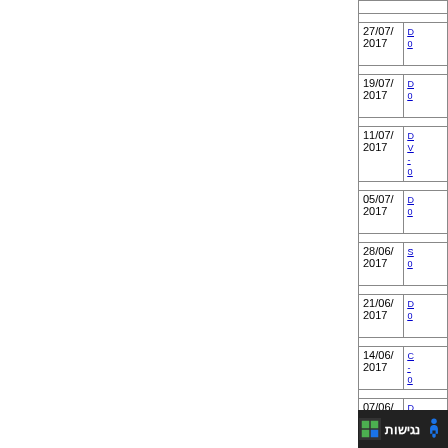| Date | Link |
| --- | --- |
| 27/07/2017 |  |
| 19/07/2017 |  |
| 11/07/2017 |  |
| 05/07/2017 |  |
| 28/06/2017 |  |
| 21/06/2017 |  |
| 14/06/2017 |  |
| 07/06/2017 |  |
| 30/05/2017 |  |
נגישות